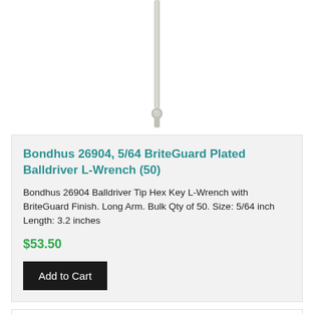[Figure (photo): Product photo of a long slim L-wrench balldriver hex key with ball tip, shown vertically, silver/nickel finish]
Bondhus 26904, 5/64 BriteGuard Plated Balldriver L-Wrench (50)
Bondhus 26904 Balldriver Tip Hex Key L-Wrench with BriteGuard Finish. Long Arm. Bulk Qty of 50. Size: 5/64 inch Length: 3.2 inches
$53.50
Add to Cart
[Figure (photo): Product photo of an L-shaped hex wrench, silver/nickel finish, short arm portion visible at bottom of image]